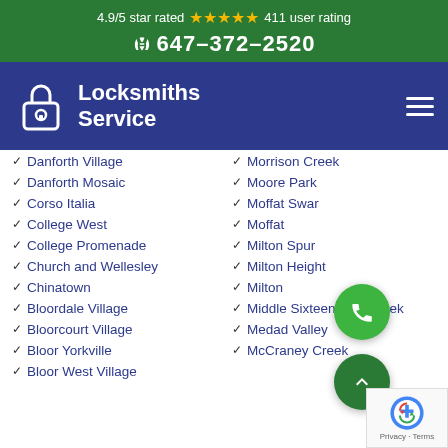4.9/5 star rated ★★★★★ 411 user rating
647-372-2520
[Figure (logo): Locksmiths Service logo with padlock icon and navigation bar]
Danforth Village
Morrison Creek
Danforth Mosaic
Moore Park
Corso Italia
Moffat Swamp
College West
Moffat
College Promenade
Milton Spur
Church and Wellesley
Milton Heights
Chinatown
Milton
Bloordale Village
Middle Sixteen Mile Creek
Bloorcourt Village
Medad Valley
Bloor Yorkville
McCraney Creek
Bloor West Village